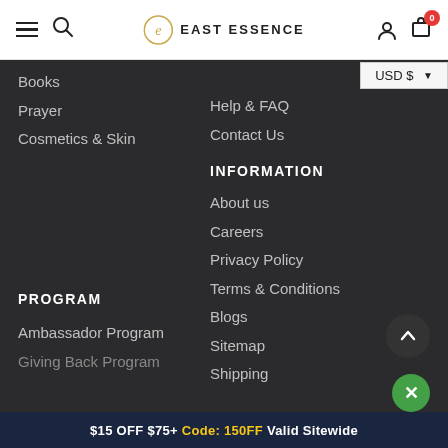East Essence header with hamburger menu, search, logo, user icon, cart (0)
Books
Prayer
Cosmetics & Skin
Help & FAQ
Contact Us
INFORMATION
About us
Careers
Privacy Policy
Terms & Conditions
Blogs
Sitemap
Shipping
PROGRAM
Ambassador Program
Giving Back Program
$15 OFF $75+ Code: 150FF Valid Sitewide